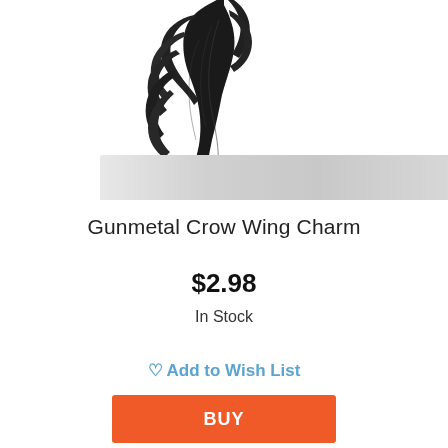[Figure (photo): Gunmetal black crow wing charm jewelry piece, photographed against white background with light gray marble surface visible at bottom]
Gunmetal Crow Wing Charm
$2.98
In Stock
Add to Wish List
BUY